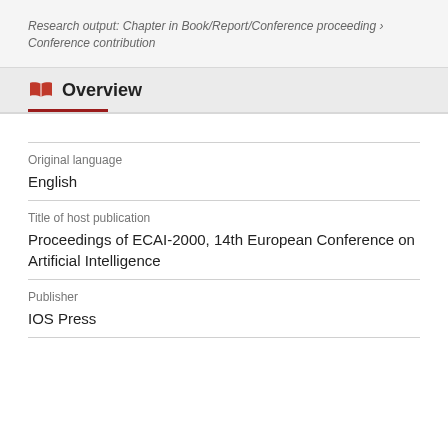Research output: Chapter in Book/Report/Conference proceeding › Conference contribution
Overview
Original language
English
Title of host publication
Proceedings of ECAI-2000, 14th European Conference on Artificial Intelligence
Publisher
IOS Press